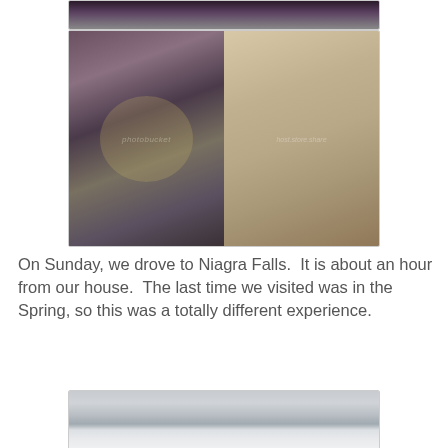[Figure (photo): Partial top of a photo showing two people, cropped at top of page]
[Figure (photo): Collage of two photos side by side: left shows a woman with glasses and a child examining rocks/specimens on a table; right shows a hand holding a small round bread roll or fossil specimen on white paper. Photobucket watermarks visible.]
On Sunday, we drove to Niagra Falls.  It is about an hour from our house.  The last time we visited was in the Spring, so this was a totally different experience.
[Figure (photo): Partial photo of Niagara Falls in winter/misty conditions, showing the waterfall with mist, trees and a tower visible in the background, mostly white/grey tones.]